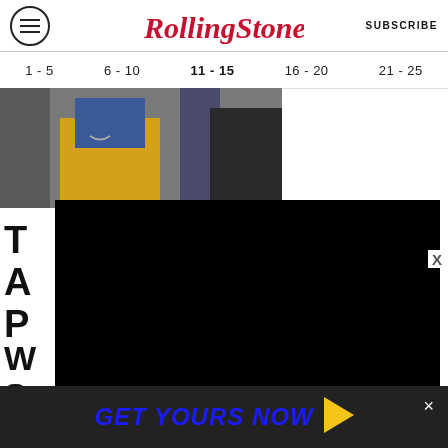Rolling Stone — SUBSCRIBE
1 - 5  6 - 10  11 - 15  16 - 20  21 - 25
[Figure (photo): Photo of people on a subway or bus, one wearing a yellow shirt and denim jacket]
[Figure (screenshot): Video player with play, rewind 10s, and skip buttons; time display 00:00 / 01:05; CC, grid, settings, and fullscreen icons]
T
A
P

W
S
H
[Figure (other): Advertisement bar: GET YOURS NOW with yellow accent]